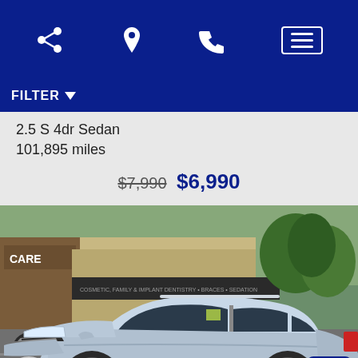Navigation bar with share, location, phone, and menu icons
FILTER
2.5 S 4dr Sedan
101,895 miles
$7,990 $6,990
[Figure (photo): Silver Nissan Rogue SUV parked in a parking lot in front of a strip mall with a dental/medical office. The car is silver/light blue metallic, front 3/4 view.]